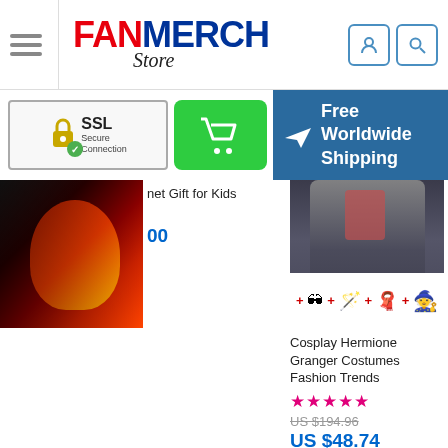FANMERCH Store
[Figure (screenshot): SSL Secure Connection badge with padlock and green checkmark]
[Figure (screenshot): Green shopping cart button]
[Figure (screenshot): Free Worldwide Shipping banner with airplane icon]
[Figure (photo): Iron Man helmet product photo (partially cut off on left)]
net Gift for Kids
[Figure (photo): Cosplay Hermione Granger costume including robe, glasses, wand, tie, and hat]
Cosplay Hermione Granger Costumes Fashion Trends
★★★★★
US $194.96
US $48.74
[Figure (photo): Captain Marvel kids Halloween cosplay costume (partially cut off on right)]
Costume World Captain Marvel Kids Halloween Cosplay
★★★★★
US $99.00
US $44.00